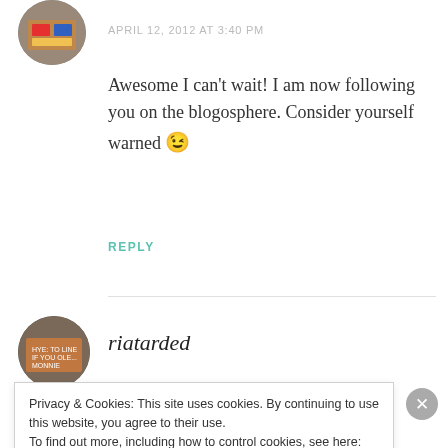[Figure (photo): Circular user avatar image at top left]
APRIL 12, 2012 AT 3:40 PM
Awesome I can't wait! I am now following you on the blogosphere. Consider yourself warned 😉
REPLY
[Figure (photo): Circular user avatar image for riatarded]
riatarded
Privacy & Cookies: This site uses cookies. By continuing to use this website, you agree to their use.
To find out more, including how to control cookies, see here: Cookie Policy
Close and accept